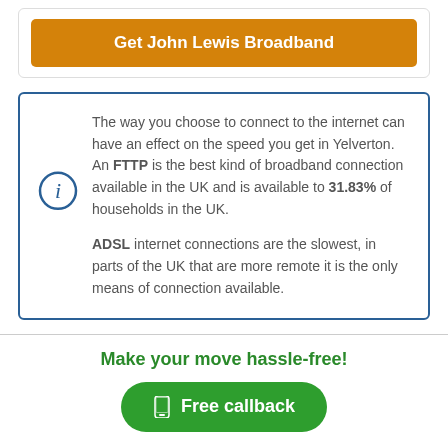Get John Lewis Broadband
The way you choose to connect to the internet can have an effect on the speed you get in Yelverton. An FTTP is the best kind of broadband connection available in the UK and is available to 31.83% of households in the UK.

ADSL internet connections are the slowest, in parts of the UK that are more remote it is the only means of connection available.
Make your move hassle-free!
Free callback